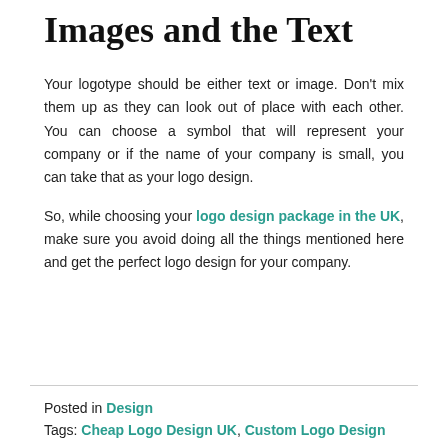Images and the Text
Your logotype should be either text or image. Don't mix them up as they can look out of place with each other. You can choose a symbol that will represent your company or if the name of your company is small, you can take that as your logo design.
So, while choosing your logo design package in the UK, make sure you avoid doing all the things mentioned here and get the perfect logo design for your company.
Posted in Design
Tags: Cheap Logo Design UK, Custom Logo Design UK, Logo Design Package UK, Professional Logo